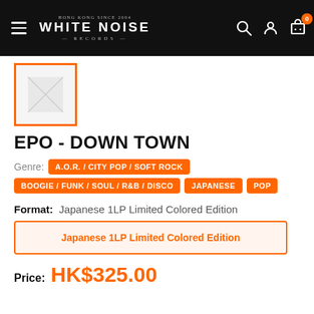WHITE NOISE RECORDS — Hong Kong Since 2004
[Figure (photo): Product image placeholder — square with orange border]
EPO - DOWN TOWN
Genre: A.O.R. / CITY POP / SOFT ROCK | BOOGIE / FUNK / SOUL / R&B / DISCO | JAPANESE | POP
Format: Japanese 1LP Limited Colored Edition
Japanese 1LP Limited Colored Edition
Price: HK$325.00